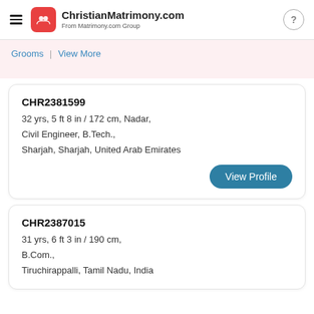ChristianMatrimony.com — From Matrimony.com Group
Grooms | View More
CHR2381599
32 yrs, 5 ft 8 in / 172 cm, Nadar,
Civil Engineer, B.Tech.,
Sharjah, Sharjah, United Arab Emirates
View Profile
CHR2387015
31 yrs, 6 ft 3 in / 190 cm,
B.Com.,
Tiruchirappalli, Tamil Nadu, India